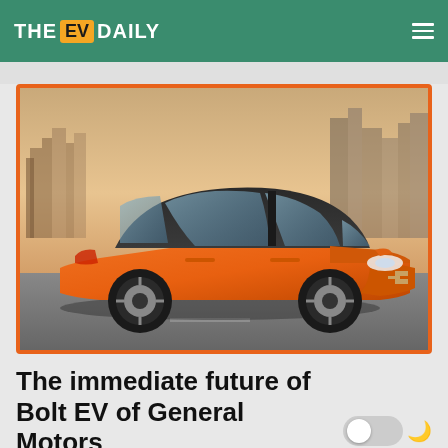THE EV DAILY
[Figure (photo): Orange Chevrolet Bolt EV concept car photographed from a front three-quarter angle, parked on a road with a city skyline (resembling New York) in the background at dusk. The car has a distinctive sporty hatchback design with a Chevrolet bowtie logo, LED headlights, and bright orange paint. The image has an orange border frame.]
The immediate future of Bolt EV of General Motors